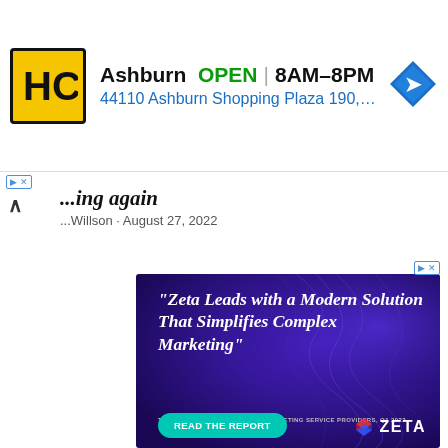[Figure (advertisement): HC auto parts store ad banner: yellow HC logo, Ashburn OPEN 8AM-8PM, 44110 Ashburn Shopping Plaza 190 A., blue navigation arrow icon]
...ing again
...Willson · August 27, 2022
[Figure (advertisement): Zeta Global advertisement on dark purple background: quote 'Zeta Leads with a Modern Solution That Simplifies Complex Marketing' attributed to The Forrester Wave: Email Marketing Service Providers, Q1 2022. Teal READ THE REPORT button and Zeta logo at bottom.]